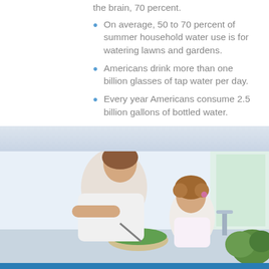the brain, 70 percent.
On average, 50 to 70 percent of summer household water use is for watering lawns and gardens.
Americans drink more than one billion glasses of tap water per day.
Every year Americans consume 2.5 billion gallons of bottled water.
Water facilitates weight loss and helps you stay healthy and regular, especially important when you are on a diet.
[Figure (photo): A mother and young toddler child together in a kitchen preparing food, the mother mixing a salad bowl while the child watches nearby, with a window and greenery visible in the background.]